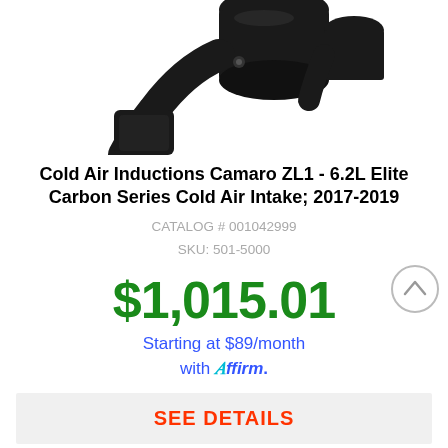[Figure (photo): Black cold air intake component (tube and filter housing) photographed on white background, partially cropped at top]
Cold Air Inductions Camaro ZL1 - 6.2L Elite Carbon Series Cold Air Intake; 2017-2019
CATALOG # 001042999
SKU: 501-5000
$1,015.01
Starting at $89/month with Affirm.
SEE DETAILS